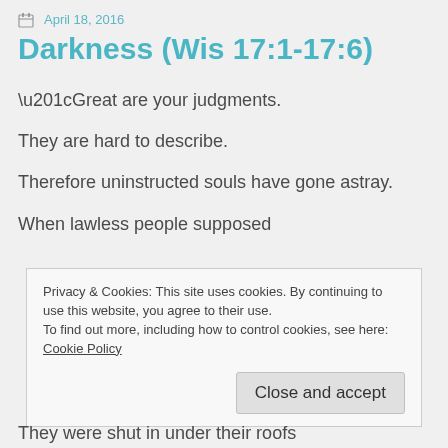April 18, 2016
Darkness (Wis 17:1-17:6)
“Great are your judgments.
They are hard to describe.
Therefore uninstructed souls have gone astray.
When lawless people supposed
Privacy & Cookies: This site uses cookies. By continuing to use this website, you agree to their use.
To find out more, including how to control cookies, see here: Cookie Policy
They were shut in under their roofs